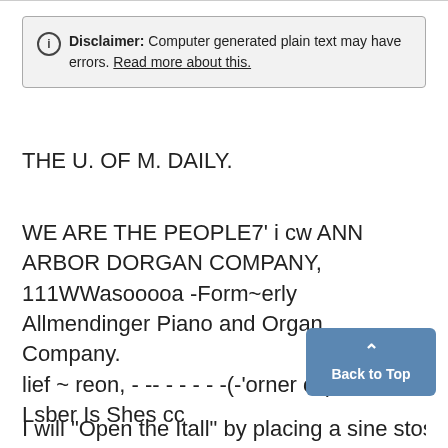Disclaimer: Computer generated plain text may have errors. Read more about this.
THE U. OF M. DAILY.
WE ARE THE PEOPLE7' i cw ANN ARBOR DORGAN COMPANY, 111WWasooooa -Form~erly Allmendinger Piano and Organ Company. lief ~ reon, - -- - - - - -(-'orner of(tMainand Lsber Is Shes cc
I will "Open the Itall" by placing a sine stosck